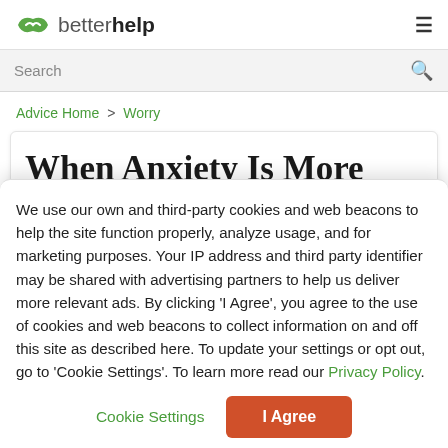betterhelp
Search
Advice Home > Worry
When Anxiety Is More Than
We use our own and third-party cookies and web beacons to help the site function properly, analyze usage, and for marketing purposes. Your IP address and third party identifier may be shared with advertising partners to help us deliver more relevant ads. By clicking 'I Agree', you agree to the use of cookies and web beacons to collect information on and off this site as described here. To update your settings or opt out, go to 'Cookie Settings'. To learn more read our Privacy Policy.
Cookie Settings | I Agree